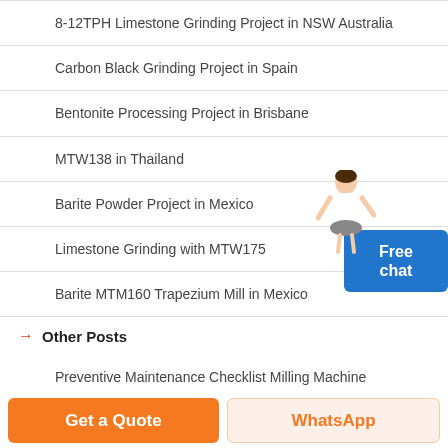8-12TPH Limestone Grinding Project in NSW Australia
Carbon Black Grinding Project in Spain
Bentonite Processing Project in Brisbane
MTW138 in Thailand
Barite Powder Project in Mexico
Limestone Grinding with MTW175
Barite MTM160 Trapezium Mill in Mexico
Other Posts
Preventive Maintenance Checklist Milling Machine
5 Axis Cnc Milling Machine
Repair Ball Valvemachine Grinder
Rolling Mill Handle
Hobby Mill For Sale Ebay
Components Of A Coal Mill
Get a Quote
WhatsApp